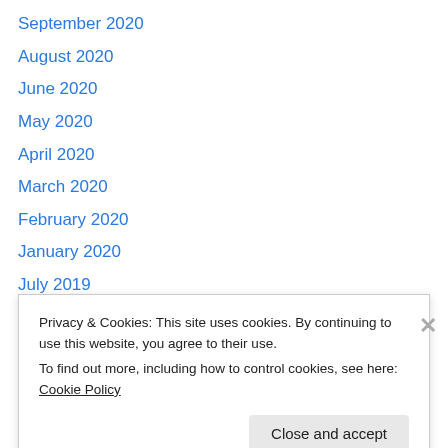September 2020
August 2020
June 2020
May 2020
April 2020
March 2020
February 2020
January 2020
July 2019
March 2019
February 2019
January 2019
December 2018
Privacy & Cookies: This site uses cookies. By continuing to use this website, you agree to their use. To find out more, including how to control cookies, see here: Cookie Policy
Close and accept